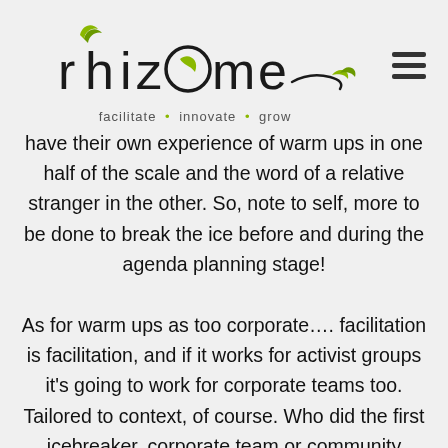[Figure (logo): Rhizome logo with stylized text and green leaf accents, tagline: facilitate • innovate • grow]
have their own experience of warm ups in one half of the scale and the word of a relative stranger in the other. So, note to self, more to be done to break the ice before and during the agenda planning stage!
As for warm ups as too corporate…. facilitation is facilitation, and if it works for activist groups it's going to work for corporate teams too. Tailored to context, of course. Who did the first icebreaker, corporate team or community group? I don't suppose we'll ever know, and it doesn't matter. I regularly raid more 'corporate'